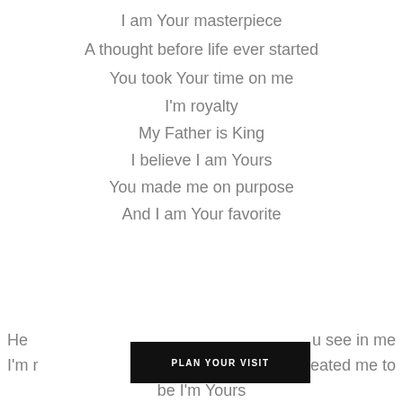I am Your masterpiece
A thought before life ever started
You took Your time on me
I'm royalty
My Father is King
I believe I am Yours
You made me on purpose
And I am Your favorite
He[lp me become what] u see in me
I'm r[eminded that You cr]eated me to
be I'm Yours
PLAN YOUR VISIT